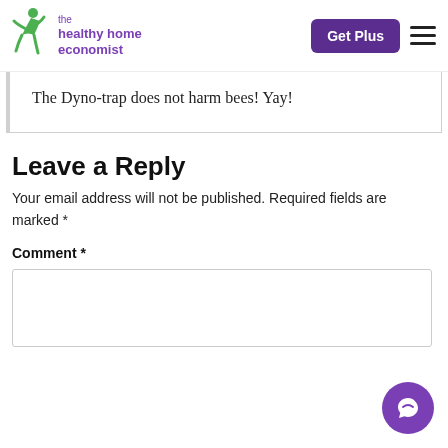the healthy home economist | Get Plus
The Dyno-trap does not harm bees! Yay!
Leave a Reply
Your email address will not be published. Required fields are marked *
Comment *